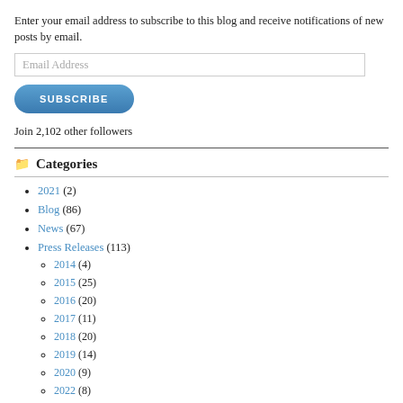Enter your email address to subscribe to this blog and receive notifications of new posts by email.
[Figure (screenshot): Email address input field with placeholder text 'Email Address']
[Figure (screenshot): Subscribe button, blue rounded rectangle with text 'SUBSCRIBE']
Join 2,102 other followers
Categories
2021 (2)
Blog (86)
News (67)
Press Releases (113)
2014 (4)
2015 (25)
2016 (20)
2017 (11)
2018 (20)
2019 (14)
2020 (9)
2022 (8)